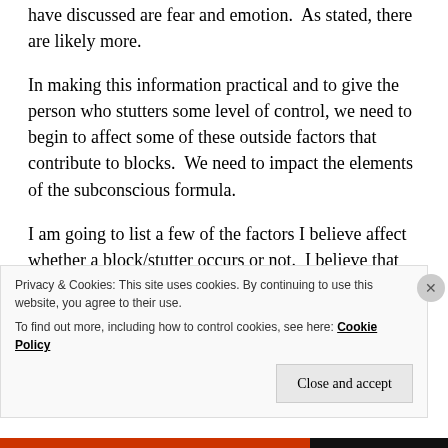have discussed are fear and emotion.  As stated, there are likely more.
In making this information practical and to give the person who stutters some level of control, we need to begin to affect some of these outside factors that contribute to blocks.  We need to impact the elements of the subconscious formula.
I am going to list a few of the factors I believe affect whether a block/stutter occurs or not.  I believe that based on the combination of these factors and more, the subconscious will determine whether it should
Privacy & Cookies: This site uses cookies. By continuing to use this website, you agree to their use.
To find out more, including how to control cookies, see here: Cookie Policy